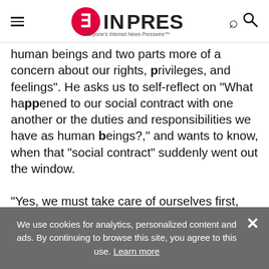EINPresswire - Everyone's Internet News Presswire
human beings and two parts more of a concern about our rights, privileges, and feelings". He asks us to self-reflect on "What happened to our social contract with one another or the duties and responsibilities we have as human beings?," and wants to know, when that "social contract" suddenly went out the window.

"Yes, we must take care of ourselves first, but it's about what we can do to save lives and protect
We use cookies for analytics, personalized content and ads. By continuing to browse this site, you agree to this use. Learn more